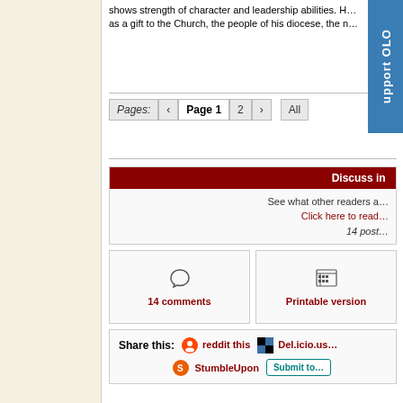shows strength of character and leadership abilities. H... as a gift to the Church, the people of his diocese, the n...
Pages: ‹ Page 1 2 › All
Discuss in ...
See what other readers a...
Click here to read...
14 post...
14 comments
Printable version
Share this: reddit this  Del.icio.us...  StumbleUpon  Submit to...